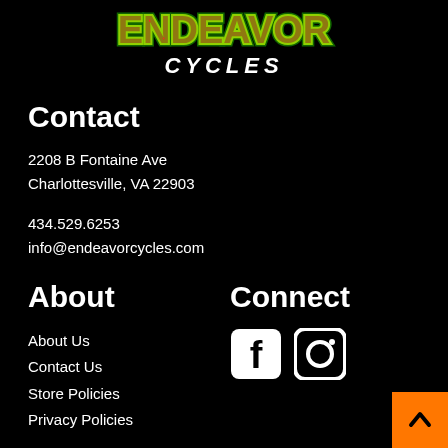[Figure (logo): Endeavor Cycles logo with colorful graffiti-style text 'ENDEAVOR' in red/yellow/green on black background, with 'CYCLES' below in white stylized font]
Contact
2208 B Fontaine Ave
Charlottesville, VA 22903
434.529.6253
info@endeavorcycles.com
About
About Us
Contact Us
Store Policies
Privacy Policies
Connect
[Figure (illustration): Facebook and Instagram social media icons in white on black background]